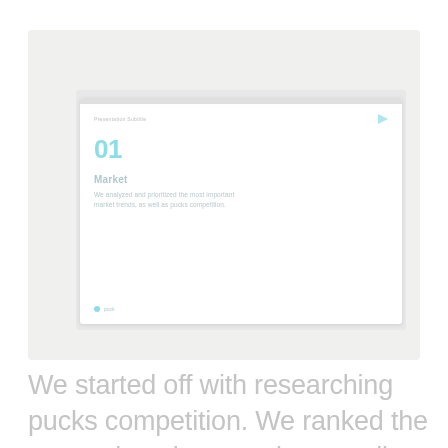[Figure (screenshot): A faded screenshot of a presentation slide showing '01 Market' with text 'We analyzed and prioritized the most important market trends, as well as pucks competition.' on a white slide background with decorative grey outer frame.]
We started off with researching pucks competition. We ranked the competitors in a matrix according to "product similarity" and